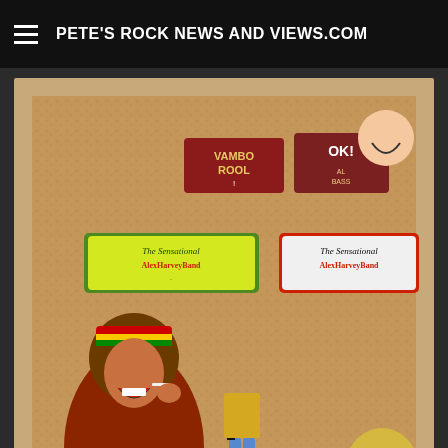PETE'S ROCK NEWS AND VIEWS.COM
[Figure (photo): Cork board with enamel pins including Vambo Rool, OK! Al Bass, The Sensational Alex Harvey Band (two versions), a Rastafarian man figure, a slim jeans figure, a large eyeball with top hat, a curly-haired person with sunglasses. Website www.weirdscenes.co.uk shown at bottom of cork board frame.]
[Figure (photo): Partially visible white image at the bottom of the page, likely another advertisement or photo.]